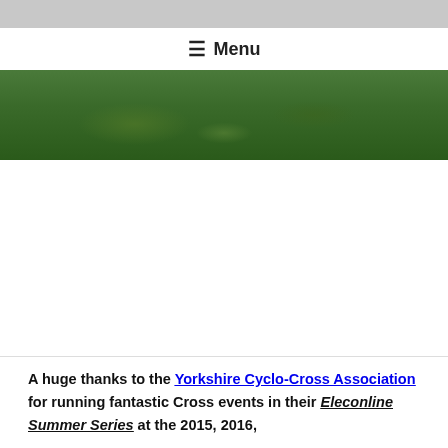Menu
[Figure (photo): Outdoor cycling/nature scene with green foliage]
A huge thanks to the Yorkshire Cyclo-Cross Association for running fantastic Cross events in their Eleconline Summer Series at the 2015, 2016,